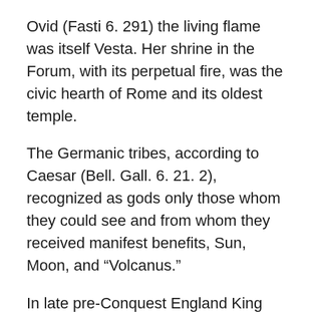Ovid (Fasti 6. 291) the living flame was itself Vesta. Her shrine in the Forum, with its perpetual fire, was the civic hearth of Rome and its oldest temple.
The Germanic tribes, according to Caesar (Bell. Gall. 6. 21. 2), recognized as gods only those whom they could see and from whom they received manifest benefits, Sun, Moon, and “Volcanus.”
In late pre-Conquest England King Canute proscribed worship of ‘heathen gods, Sun or Moon, fire or water, wells or stones or trees of any kind’. It was mentioned above that a Nordic genealogy named Sea, Fire, and Wind as the three sons of a primal giant.
In Lithuania, as fifteenth-century sources attest, priests maintained a perpetual holy fire, worshipped as